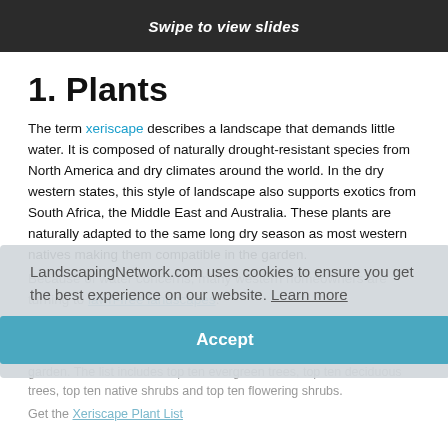Swipe to view slides
1. Plants
The term xeriscape describes a landscape that demands little water. It is composed of naturally drought-resistant species from North America and dry climates around the world. In the dry western states, this style of landscape also supports exotics from South Africa, the Middle East and Australia. These plants are naturally adapted to the same long dry season as most western natives making them compatible in the garden.
Because of water concerns, many western homeowners are turning to lawn-free landscapes.
Xeriscape Plant List
Discover the best trees and shrubs for planting in a western Xeriscape garden. The list includes top ten evergreen trees, top ten deciduous trees, top ten native shrubs and top ten flowering shrubs.
Get the Xeriscape Plant List
LandscapingNetwork.com uses cookies to ensure you get the best experience on our website. Learn more
Accept